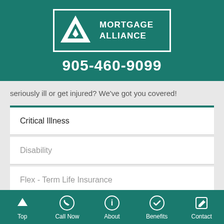[Figure (logo): Mortgage Alliance logo - white triangle/mountain shape with 'MORTGAGE ALLIANCE' text in teal rectangle, phone number 905-460-9099 below]
seriously ill or get injured? We've got you covered!
Critical Illness
Disability
Flex - Term Life Insurance
Top | Call Now | About | Benefits | Contact